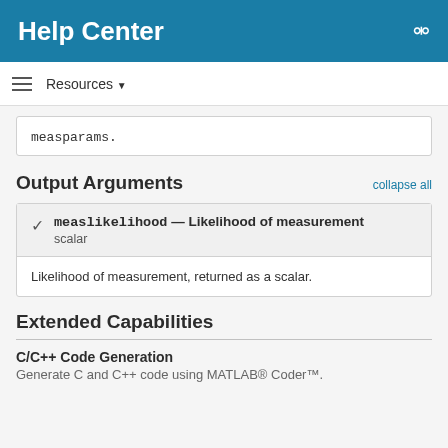Help Center
Resources ▾
measparams.
Output Arguments
measlikelihood — Likelihood of measurement
scalar
Likelihood of measurement, returned as a scalar.
Extended Capabilities
C/C++ Code Generation
Generate C and C++ code using MATLAB® Coder™.